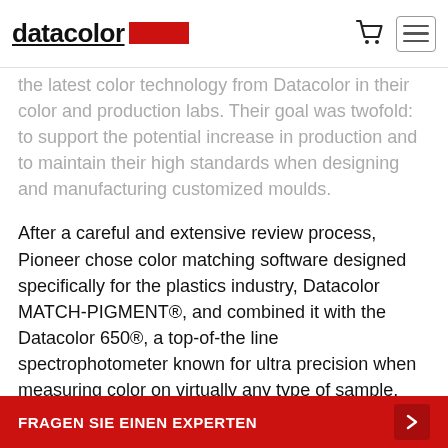datacolor
the latest color technology from Datacolor in their color and production labs. Their goal was twofold: to support the potential increase in production and to maintain their high standards when designing and manufacturing customized moulds.
After a careful and extensive review process, Pioneer chose color matching software designed specifically for the plastics industry, Datacolor MATCH-PIGMENT®, and combined it with the Datacolor 650®, a top-of-the line spectrophotometer known for ultra precision when measuring color on virtually any type of sample.
Overall, Pioneer was seeking the efficiency achieved by automating color recipe creation. Like many ...essful history, the
FRAGEN SIE EINEN EXPERTEN